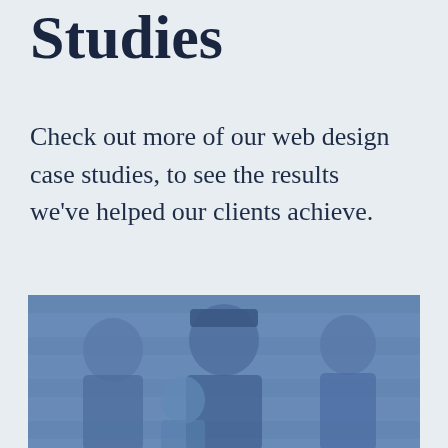Studies
Check out more of our web design case studies, to see the results we've helped our clients achieve.
[Figure (photo): A blue-tinted photograph of a family group — a woman on the left, a man in the center wearing a cap, a young child, and a woman on the right, standing in front of a wooden wall background.]